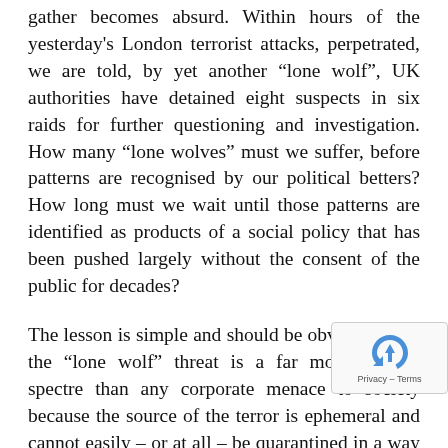gather becomes absurd. Within hours of the yesterday's London terrorist attacks, perpetrated, we are told, by yet another "lone wolf", UK authorities have detained eight suspects in six raids for further questioning and investigation. How many "lone wolves" must we suffer, before patterns are recognised by our political betters? How long must we wait until those patterns are identified as products of a social policy that has been pushed largely without the consent of the public for decades?
The lesson is simple and should be obvious to all: the "lone wolf" threat is a far more horrific spectre than any corporate menace to society because the source of the terror is ephemeral and cannot easily – or at all – be quarantined in a way that will satisfy an egalitarian polity. This is because the motivation does not come from an organisation, but an idea, and while organisations